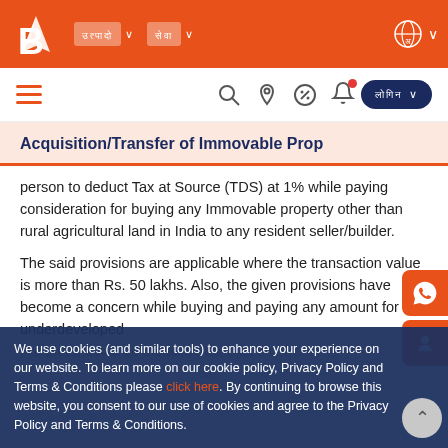Bank of Baroda website navigation bar with logo, menu items, and icons
Acquisition/Transfer of Immovable Prop[erty]
person to deduct Tax at Source (TDS) at 1% while paying consideration for buying any Immovable property other than rural agricultural land in India to any resident seller/builder.
The said provisions are applicable where the transaction value is more than Rs. 50 lakhs. Also, the given provisions have become a concern while buying and paying any amount for underdeveloped [plots, advance installments, bills etc. from ... st...]
We use cookies (and similar tools) to enhance your experience on our website. To learn more on our cookie policy, Privacy Policy and Terms & Conditions please click here. By continuing to browse this website, you consent to our use of cookies and agree to the Privacy Policy and Terms & Conditions.
does not provide Permanent Account Number (PAN) to the buyer, then